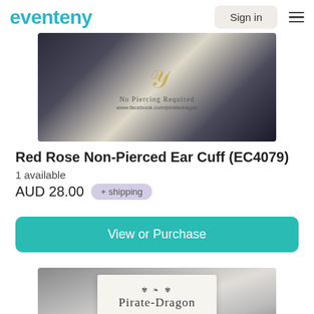eventeny  Sign in
[Figure (photo): Product photo of Red Rose Non-Pierced Ear Cuff with Pirate-Dragon branding, showing a red rose on gold/ornate metal cuff against dark starry background, with text 'No Piercing Required' and 'www.facebook.com/piratedragon']
Red Rose Non-Pierced Ear Cuff (EC4079)
1 available
AUD 28.00  + shipping
View or Purchase
[Figure (photo): Bottom portion of second product image showing Pirate-Dragon branded card against dark background, with ornate crown symbol and 'Pirate-Dragon' text in serif font]